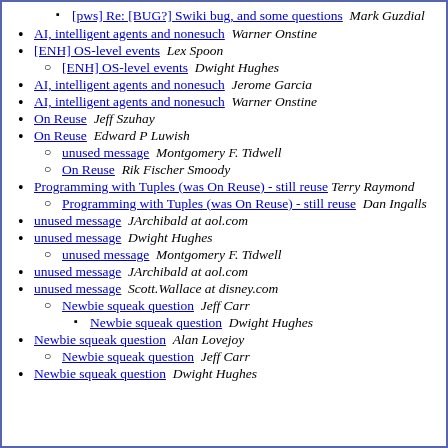[pws] Re: [BUG?] Swiki bug, and some questions   Mark Guzdial
AI, intelligent agents and nonesuch   Warner Onstine
[ENH] OS-level events   Lex Spoon
[ENH] OS-level events   Dwight Hughes
AI, intelligent agents and nonesuch   Jerome Garcia
AI, intelligent agents and nonesuch   Warner Onstine
On Reuse   Jeff Szuhay
On Reuse   Edward P Luwish
unused message   Montgomery F. Tidwell
On Reuse   Rik Fischer Smoody
Programming with Tuples (was On Reuse) - still reuse   Terry Raymond
Programming with Tuples (was On Reuse) - still reuse   Dan Ingalls
unused message   JArchibald at aol.com
unused message   Dwight Hughes
unused message   Montgomery F. Tidwell
unused message   JArchibald at aol.com
unused message   Scott.Wallace at disney.com
Newbie squeak question   Jeff Carr
Newbie squeak question   Dwight Hughes
Newbie squeak question   Alan Lovejoy
Newbie squeak question   Jeff Carr
Newbie squeak question   Dwight Hughes